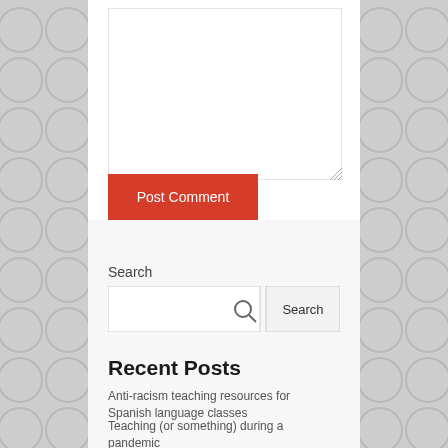[Figure (screenshot): Textarea input box for comment form, empty white box with resize handle]
Post Comment
Search
[Figure (screenshot): Search input field with magnifying glass icon and Search button]
Recent Posts
Anti-racism teaching resources for Spanish language classes
Teaching (or something) during a pandemic
Oh..hello